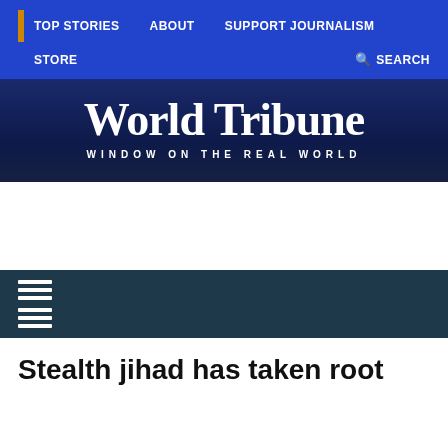TOP STORIES   ABOUT   SUPPORT JOURNALISM   STORE   SEARCH
[Figure (logo): World Tribune newspaper masthead logo with blackletter 'World Tribune' text and tagline 'WINDOW ON THE REAL WORLD' on a dark blue gradient background]
[Figure (other): Navigation menu bar with two hamburger menu icons on a dark teal/navy background]
Stealth jihad has taken root